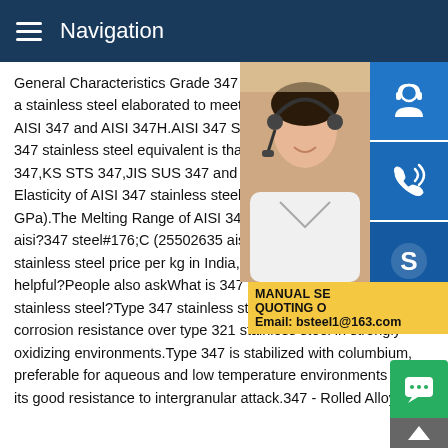Navigation
General Characteristics Grade 347 from A... a stainless steel elaborated to meet the in... AISI 347 and AISI 347H. AISI 347 Stainles... 347 stainless steel equivalent is that of UN... 347,KS STS 347,JIS SUS 347 and DIN 1... Elasticity of AISI 347 stainless steel is 28.0... GPa). The Melting Range of AISI 347 stain... aisi?347 steel#176;C (25502635 aisi?347... stainless steel price per kg in India,SS 347... helpful?People also askWhat is 347 stainless steel?Type 347 stainless steel has slightly improved corrosion resistance over type 321 stainless steel in strongly oxidizing environments.Type 347 is stabilized with columbium, preferable for aqueous and low temperature environments due its good resistance to intergranular attack.347 - Rolled Alloys,I...
[Figure (photo): Customer service representative woman wearing headset, smiling]
[Figure (infographic): Blue icon buttons: headset/support icon, phone/call icon, Skype icon]
[Figure (infographic): Yellow promotional box with text: MANUAL SE... QUOTING O... Email: bsteel1@163.com]
[Figure (infographic): Green chat bubble button and dark scroll-to-top arrow button]